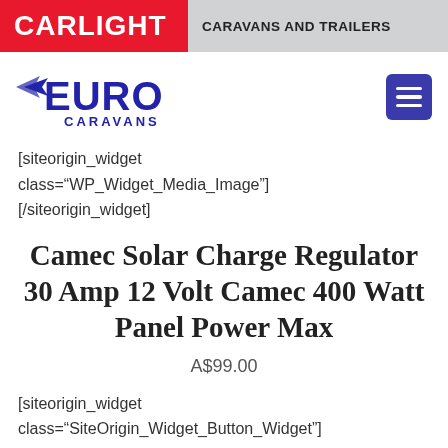CARLIGHT | CARAVANS AND TRAILERS
[Figure (logo): Euro Caravans logo with blue stylized 'EURO' text and wing graphic, plus hamburger menu button]
[siteorigin_widget class="WP_Widget_Media_Image"] [/siteorigin_widget]
Camec Solar Charge Regulator 30 Amp 12 Volt Camec 400 Watt Panel Power Max
A$99.00
[siteorigin_widget class="SiteOrigin_Widget_Button_Widget"] [/siteorigin_widget] [siteorigin_widget class="WP_Widget_Media_Image"]